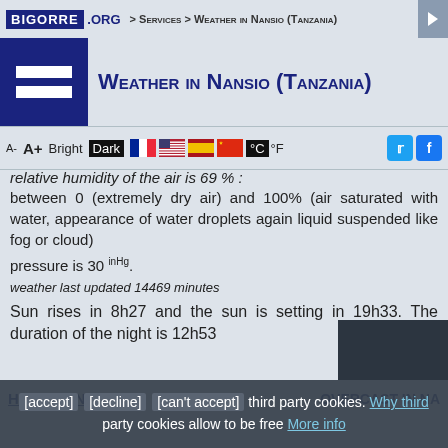BIGORRE .ORG > Services > Weather in Nansio (Tanzania)
Weather in Nansio (Tanzania)
relative humidity of the air is 69 %. between 0 (extremely dry air) and 100% (air saturated with water, appearance of water droplets again liquid suspended like fog or cloud)
pressure is 30 inHg.
weather last updated 14469 minutes
Sun rises in 8h27 and the sun is setting in 19h33. The duration of the night is 12h53
Hotels in Nansio
OVERCAST IN NA
[accept] [decline] [can't accept] third party cookies. Why third party cookies allow to be free More info